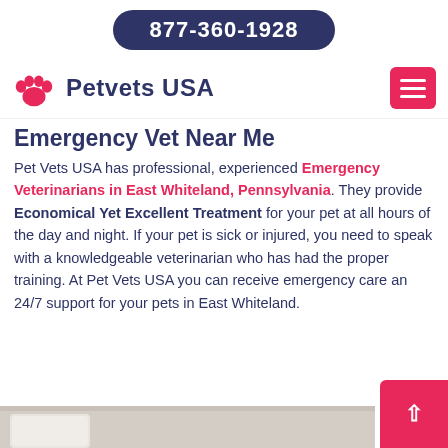877-360-1928
[Figure (logo): Petvets USA logo with pink paw print icon and dark blue text]
Emergency Vet Near Me
Pet Vets USA has professional, experienced Emergency Veterinarians in East Whiteland, Pennsylvania. They provide Economical Yet Excellent Treatment for your pet at all hours of the day and night. If your pet is sick or injured, you need to speak with a knowledgeable veterinarian who has had the proper training. At Pet Vets USA you can receive emergency care an 24/7 support for your pets in East Whiteland.
[Figure (photo): Bottom strip showing partial photo of a veterinarian in white coat]